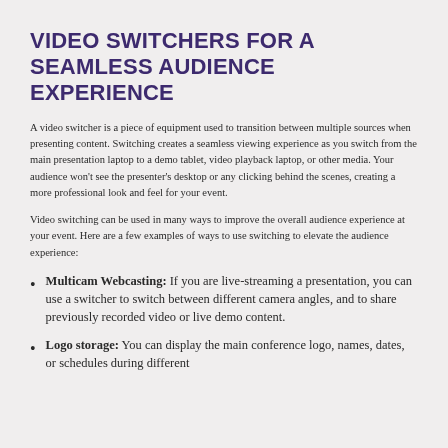VIDEO SWITCHERS FOR A SEAMLESS AUDIENCE EXPERIENCE
A video switcher is a piece of equipment used to transition between multiple sources when presenting content. Switching creates a seamless viewing experience as you switch from the main presentation laptop to a demo tablet, video playback laptop, or other media. Your audience won't see the presenter's desktop or any clicking behind the scenes, creating a more professional look and feel for your event.
Video switching can be used in many ways to improve the overall audience experience at your event. Here are a few examples of ways to use switching to elevate the audience experience:
Multicam Webcasting: If you are live-streaming a presentation, you can use a switcher to switch between different camera angles, and to share previously recorded video or live demo content.
Logo storage: You can display the main conference logo, names, dates, or schedules during different